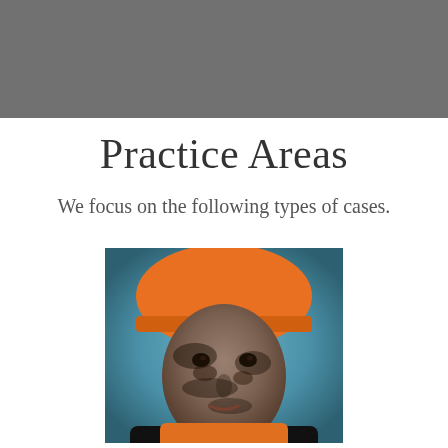[Figure (photo): Gray banner/header bar at the top of the page]
Practice Areas
We focus on the following types of cases.
[Figure (photo): Portrait photograph of a male worker wearing an orange hard hat, face covered in dirt and grime, wearing a dark jacket with orange vest, photographed against a blue background]